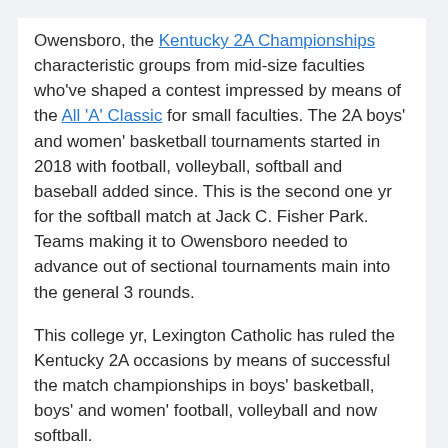Owensboro, the Kentucky 2A Championships characteristic groups from mid-size faculties who've shaped a contest impressed by means of the All 'A' Classic for small faculties. The 2A boys' and women' basketball tournaments started in 2018 with football, volleyball, softball and baseball added since. This is the second one yr for the softball match at Jack C. Fisher Park. Teams making it to Owensboro needed to advance out of sectional tournaments main into the general 3 rounds.

This college yr, Lexington Catholic has ruled the Kentucky 2A occasions by means of successful the match championships in boys' basketball, boys' and women' football, volleyball and now softball.